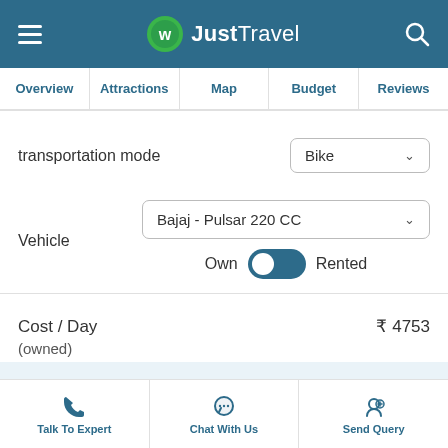[Figure (screenshot): JustTravel app header with hamburger menu, logo, and search icon on dark blue background]
Overview | Attractions | Map | Budget | Reviews
transportation mode — Bike
Vehicle — Bajaj - Pulsar 220 CC — Own / Rented toggle
Cost / Day (owned) ₹ 4753
Hotel (View Hotels) ₹ 5600
food ₹ 6400
Talk To Expert | Chat With Us | Send Query